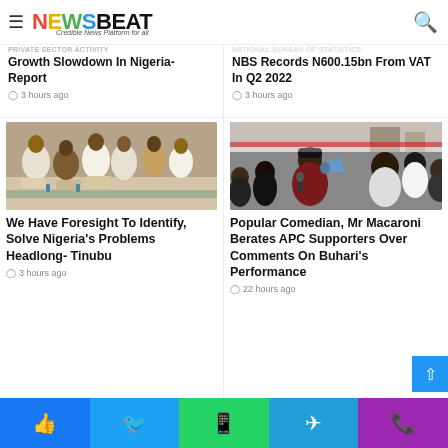NEWSBEAT — Credible News Platform for all
Private Sector Activity Growth Slowdown In Nigeria- Report
3 hours ago
NBS Records N600.15bn From VAT In Q2 2022
3 hours ago
[Figure (photo): Group of Nigerian men in traditional attire seated outdoors]
We Have Foresight To Identify, Solve Nigeria's Problems Headlong- Tinubu
3 hours ago
[Figure (photo): Young man with megaphone at a protest rally surrounded by crowd]
Popular Comedian, Mr Macaroni Berates APC Supporters Over Comments On Buhari's Performance
22 hours ago
Facebook | Twitter | WhatsApp | Telegram | Phone